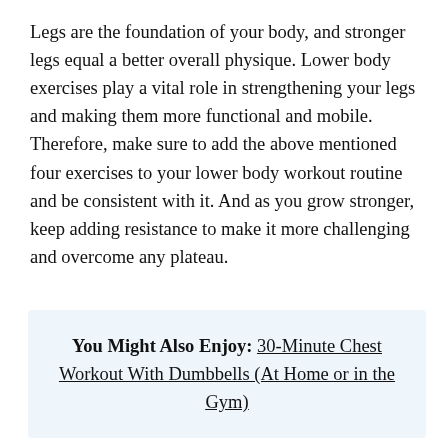Legs are the foundation of your body, and stronger legs equal a better overall physique. Lower body exercises play a vital role in strengthening your legs and making them more functional and mobile. Therefore, make sure to add the above mentioned four exercises to your lower body workout routine and be consistent with it. And as you grow stronger, keep adding resistance to make it more challenging and overcome any plateau.
You Might Also Enjoy: 30-Minute Chest Workout With Dumbbells (At Home or in the Gym)